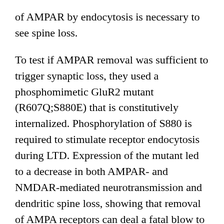of AMPAR by endocytosis is necessary to see spine loss.
To test if AMPAR removal was sufficient to trigger synaptic loss, they used a phosphomimetic GluR2 mutant (R607Q;S880E) that is constitutively internalized. Phosphorylation of S880 is required to stimulate receptor endocytosis during LTD. Expression of the mutant led to a decrease in both AMPAR- and NMDAR-mediated neurotransmission and dendritic spine loss, showing that removal of AMPA receptors can deal a fatal blow to synapses. Tying this result back to Aβ, they show that in cells expressing GluR2, Aβ treatment results in a small but significant increase in phosphorylation at S880.
From this, Hsieh and colleagues conclude that the loss of synaptic AMPA receptors is driven by Aβ-induced phosphorylation of GluR2, and leads to spine loss. This demonstrates a concept for the shared downstream...